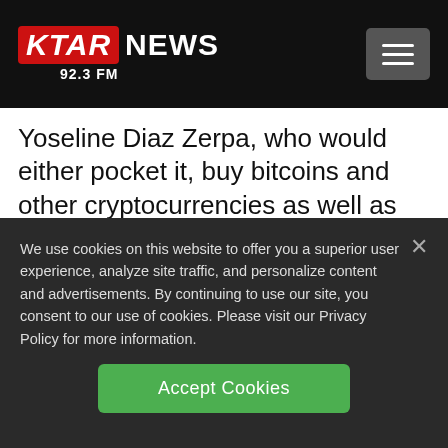KTAR NEWS 92.3 FM
Yoseline Diaz Zerpa, who would either pocket it, buy bitcoins and other cryptocurrencies as well as traditional financial assets, or pay off other members of the scheme.
Clients were promised a 10% monthly return
We use cookies on this website to offer you a superior user experience, analyze site traffic, and personalize content and advertisements. By continuing to use our site, you consent to our use of cookies. Please visit our Privacy Policy for more information.
Accept Cookies